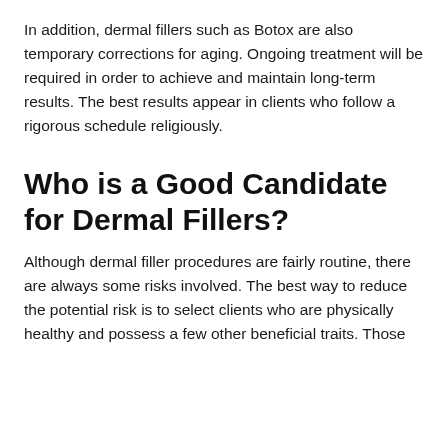In addition, dermal fillers such as Botox are also temporary corrections for aging. Ongoing treatment will be required in order to achieve and maintain long-term results. The best results appear in clients who follow a rigorous schedule religiously.
Who is a Good Candidate for Dermal Fillers?
Although dermal filler procedures are fairly routine, there are always some risks involved. The best way to reduce the potential risk is to select clients who are physically healthy and possess a few other beneficial traits. Those
x